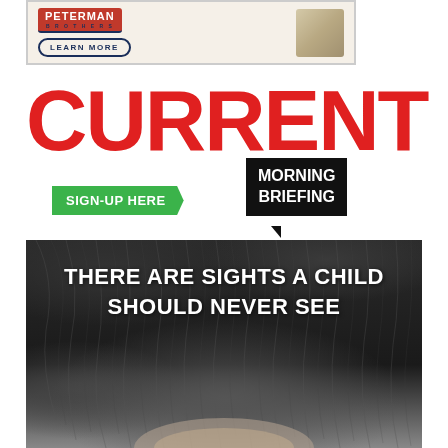[Figure (illustration): Peterman Brothers advertisement with red logo badge, 'LEARN MORE' button in navy border, and a beige/tan box image on right side]
[Figure (logo): Current Morning Briefing logo - large red bold 'CURRENT' text with green arrow 'SIGN-UP HERE' badge below left, and black speech bubble with 'MORNING BRIEFING' text on right]
[Figure (photo): Dark advertisement image showing close-up of hair/scalp in black and white with white bold text reading 'THERE ARE SIGHTS A CHILD SHOULD NEVER SEE']